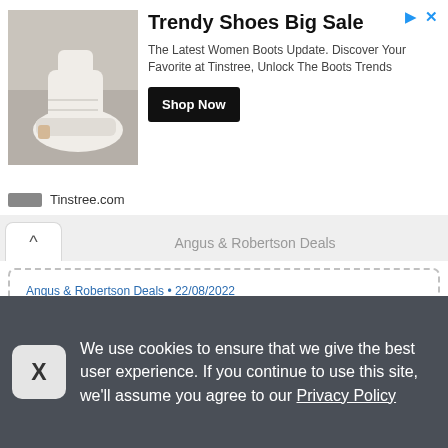[Figure (other): Advertisement banner for Trendy Shoes Big Sale from Tinstree.com showing white boots image, title, description, and Shop Now button]
Angus & Robertson Deals
Angus & Robertson Deals • 22/08/2022
Save up to 74% on selected comedy movie DVDs
Order the wide range of comedy film DVDs and get more fun. Shop now for a huge discounted price. Grab them today while stocks last!
VIEW OFFER
We use cookies to ensure that we give the best user experience. If you continue to use this site, we'll assume you agree to our Privacy Policy